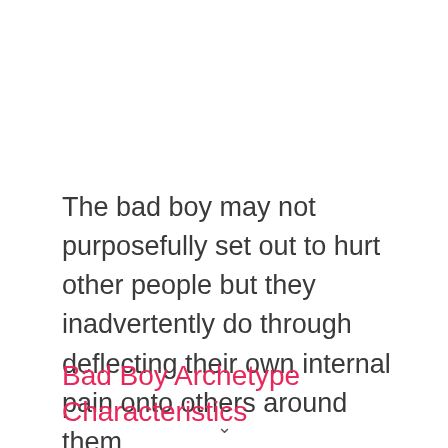The bad boy may not purposefully set out to hurt other people but they inadvertently do through deflecting their own internal pain onto others around them.
Bad Boy Archetype Characteristics